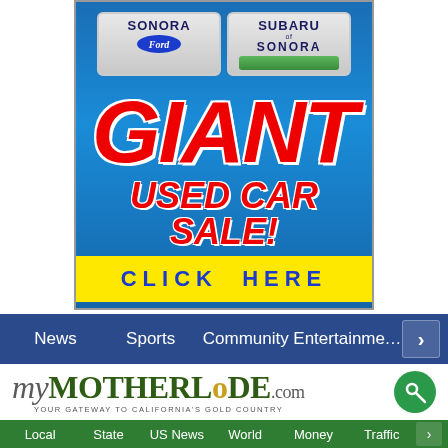[Figure (advertisement): Sonora Ford and Subaru of Sonora Giant Used Car Sale advertisement banner with blue gradient background, dealer logos at top, large red italic GIANT text, red USED CAR SALE! text, and yellow CLICK HERE bar at bottom]
News   Sports   Community   Entertainment
[Figure (logo): myMOTHERLODE.com logo with tagline YOUR GATEWAY TO CALIFORNIA'S GOLD COUNTRY and green key icon]
Local   State   US News   World   Money   Traffic